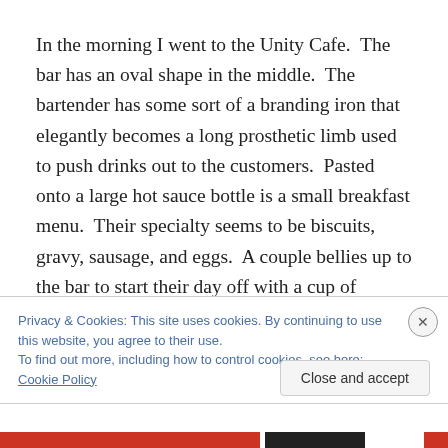In the morning I went to the Unity Cafe.  The bar has an oval shape in the middle.  The bartender has some sort of a branding iron that elegantly becomes a long prosthetic limb used to push drinks out to the customers.  Pasted onto a large hot sauce bottle is a small breakfast menu.  Their specialty seems to be biscuits, gravy, sausage, and eggs.  A couple bellies up to the bar to start their day off with a cup of coffee.  The woman loudly proclaims that
Privacy & Cookies: This site uses cookies. By continuing to use this website, you agree to their use.
To find out more, including how to control cookies, see here: Cookie Policy
Close and accept